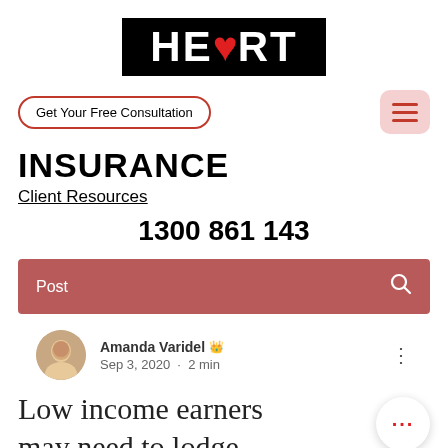[Figure (logo): HEART logo in white text on black background with a red heart symbol replacing the letter E]
Get Your Free Consultation
[Figure (other): Hamburger menu icon with three red horizontal lines on light pink rounded square background]
INSURANCE
Client Resources
1300 861 143
Post
Amanda Varidel  Sep 3, 2020 · 2 min
Low income earners may need to lodge